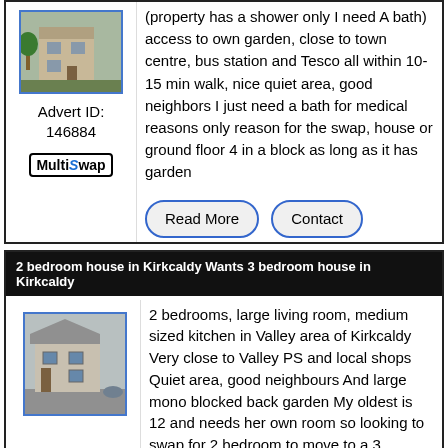[Figure (photo): Photo of a residential property building, shown in a blue-bordered thumbnail]
Advert ID: 146884
MultiSwap
(property has a shower only I need A bath) access to own garden, close to town centre, bus station and Tesco all within 10-15 min walk, nice quiet area, good neighbors I just need a bath for medical reasons only reason for the swap, house or ground floor 4 in a block as long as it has garden
Read More
Contact
2 bedroom house in Kirkcaldy Wants 3 bedroom house in Kirkcaldy
[Figure (photo): Photo of a residential house in Kirkcaldy, grey stone building with street view]
2 bedrooms, large living room, medium sized kitchen in Valley area of Kirkcaldy Very close to Valley PS and local shops Quiet area, good neighbours And large mono blocked back garden My oldest is 12 and needs her own room so looking to swap for 2 bedroom to move to a 3